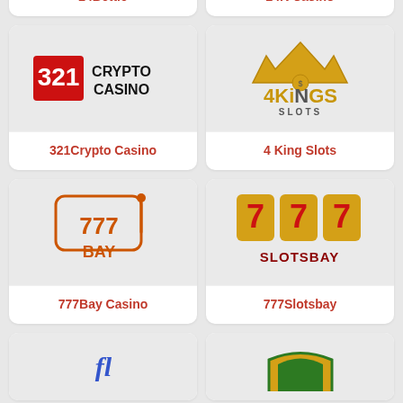[Figure (logo): 24Bettle casino logo placeholder (partial, top of page)]
24Bettle
[Figure (logo): 24K Casino logo placeholder (partial, top of page)]
24K Casino
[Figure (logo): 321Crypto Casino logo - red block with 321 and CRYPTO CASINO text]
321Crypto Casino
[Figure (logo): 4 King Slots logo - golden crown and 4KINGS SLOTS text]
4 King Slots
[Figure (logo): 777Bay Casino logo - slot machine with 777 BAY]
777Bay Casino
[Figure (logo): 777Slotsbay logo - red gold 777 with SLOTSBAY text]
777Slotsbay
[Figure (logo): Partially visible casino logo at bottom left]
[Figure (logo): Partially visible casino logo at bottom right with gold/green colors]